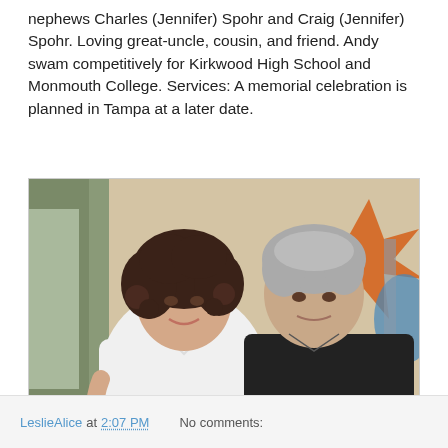nephews Charles (Jennifer) Spohr and Craig (Jennifer) Spohr. Loving great-uncle, cousin, and friend. Andy swam competitively for Kirkwood High School and Monmouth College. Services: A memorial celebration is planned in Tampa at a later date.
[Figure (photo): Photo of a woman with curly dark hair wearing a white shirt and a man with grey hair wearing a black shirt, standing together indoors.]
LeslieAlice at 2:07 PM    No comments: